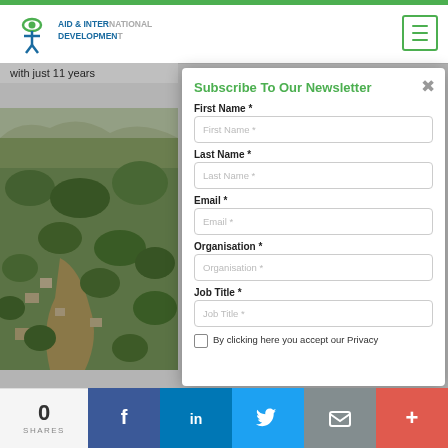[Figure (screenshot): Aid & International Development Forum website header with logo showing a green eye/person icon]
with just 11 years
[Figure (photo): Aerial view of a flooded village surrounded by trees and brown floodwater]
Subscribe To Our Newsletter
First Name *
Last Name *
Email *
Organisation *
Job Title *
By clicking here you accept our Privacy Policy and consent to receiving
0
SHARES